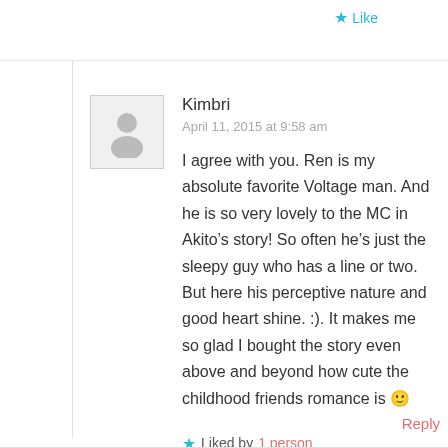Like
Kimbri
April 11, 2015 at 9:58 am
I agree with you. Ren is my absolute favorite Voltage man. And he is so very lovely to the MC in Akito’s story! So often he’s just the sleepy guy who has a line or two. But here his perceptive nature and good heart shine. :). It makes me so glad I bought the story even above and beyond how cute the childhood friends romance is 🙂
Liked by 1 person
Reply